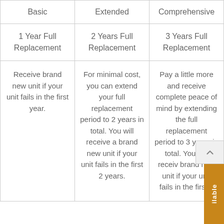| Basic | Extended | Comprehensive |
| --- | --- | --- |
| 1 Year Full Replacement | 2 Years Full Replacement | 3 Years Full Replacement |
| Receive brand new unit if your unit fails in the first year. | For minimal cost, you can extend your full replacement period to 2 years in total. You will receive a brand new unit if your unit fails in the first 2 years. | Pay a little more and receive complete peace of mind by extending the full replacement period to 3 years in total. You will receive brand new unit if your unit fails in the first 3 |